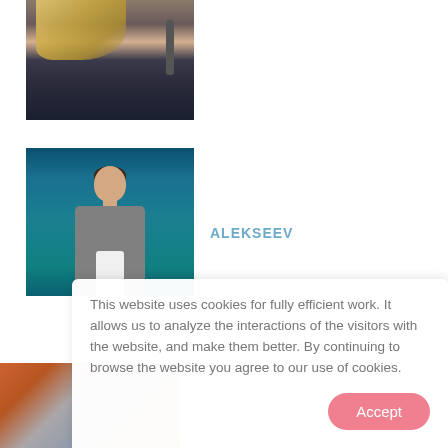[Figure (photo): Partial view of a blonde female singer holding a microphone, wearing a dark floral jacket]
[Figure (photo): Young man with dark hair wearing a grey blazer over a white shirt, posed against a teal/blue background]
ALEKSEEV
[Figure (photo): Partial view of a music band with colorful styling, partially obscured by cookie notice overlay]
This website uses cookies for fully efficient work. It allows us to analyze the interactions of the visitors with the website, and make them better. By continuing to browse the website you agree to our use of cookies.
Accept